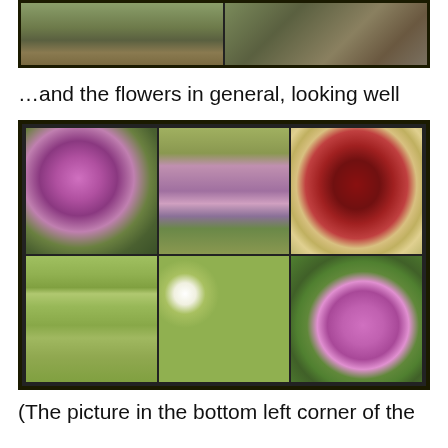[Figure (photo): Two photos side by side showing plants/garden scenes at the top of the page, partially cropped]
…and the flowers in general, looking well
[Figure (photo): A 3x2 grid of flower photos: purple thistle, pink hanging buds, dark red flower bud, garden lawn with trees, white daisies on green foliage, pink allium flower]
(The picture in the bottom left corner of the